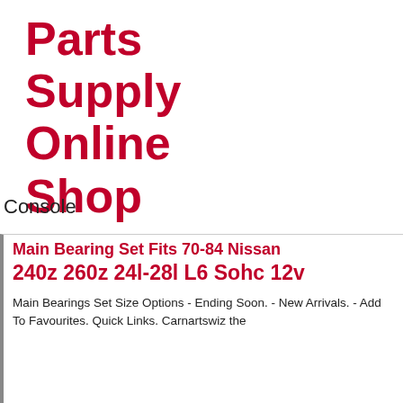Parts Supply Online Shop
Brakes
Engine
Transmission
Radiator
Gauge
Console
[Figure (illustration): Faded watermark logo of a bear or animal mascot in light pink/red tones]
Main Bearing Set Fits 70-84 Nissan 240z 260z 24l-28l L6 Sohc 12v
Main Bearings Set Size Options - Ending Soon. - New Arrivals. - Add To Favourites. Quick Links. Carnartswiz the